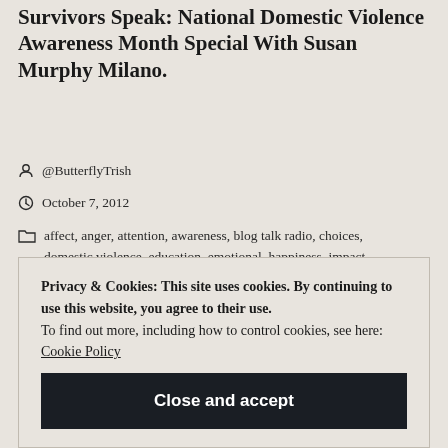Survivors Speak: National Domestic Violence Awareness Month Special With Susan Murphy Milano.
@ButterflyTrish
October 7, 2012
affect, anger, attention, awareness, blog talk radio, choices, domestic violence, education, emotional, happiness, impact, intervention, laws, My Justice, prosecution, psychological, ...
Privacy & Cookies: This site uses cookies. By continuing to use this website, you agree to their use.
To find out more, including how to control cookies, see here: Cookie Policy
Close and accept